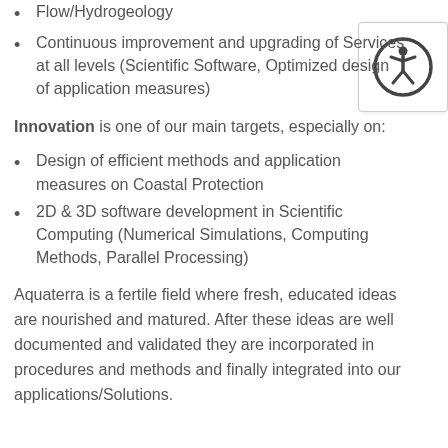Flow/Hydrogeology
Continuous improvement and upgrading of Services at all levels (Scientific Software, Optimized design of application measures)
[Figure (illustration): Accessibility icon: a circular icon with a human figure with arms and legs spread, indicating accessibility features]
Innovation is one of our main targets, especially on:
Design of efficient methods and application measures on Coastal Protection
2D & 3D software development in Scientific Computing (Numerical Simulations, Computing Methods, Parallel Processing)
Aquaterra is a fertile field where fresh, educated ideas are nourished and matured. After these ideas are well documented and validated they are incorporated in procedures and methods and finally integrated into our applications/Solutions.